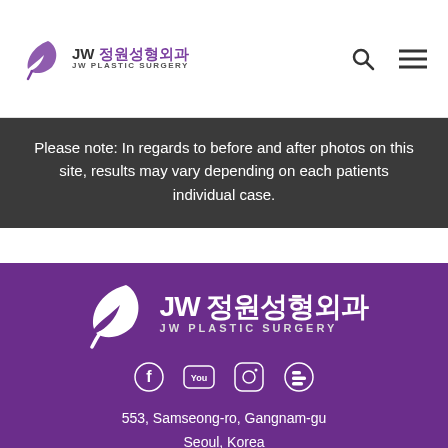[Figure (logo): JW Plastic Surgery logo with feather/leaf icon, Korean text JW 정원성형외과 and subtitle JW PLASTIC SURGERY in purple header bar]
Please note: In regards to before and after photos on this site, results may vary depending on each patients individual case.
[Figure (logo): JW 정원성형외과 JW PLASTIC SURGERY logo in white on purple background, large version in footer]
[Figure (infographic): Social media icons: Facebook, YouTube, Instagram, Blogger — white icons on purple background]
553, Samseong-ro, Gangnam-gu
Seoul, Korea